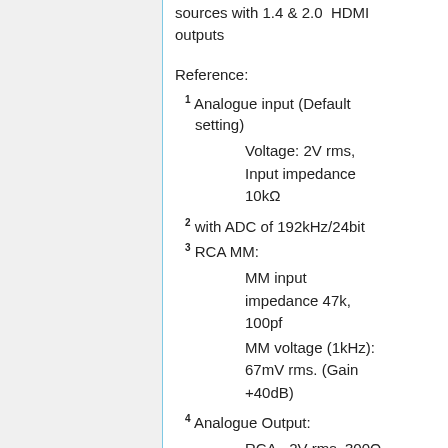sources with 1.4 & 2.0  HDMI outputs
Reference:
1 Analogue input (Default setting)
Voltage: 2V rms, Input impedance 10kΩ
2 with ADC of 192kHz/24bit
3 RCA MM:
MM input impedance 47k, 100pf
MM voltage (1kHz): 67mV rms. (Gain +40dB)
4 Analogue Output:
RCA - 2V rms. 300Ω